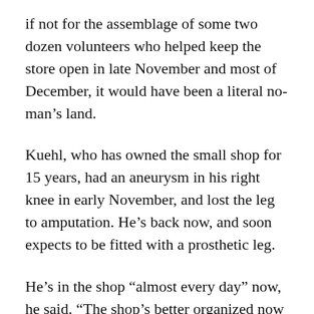if not for the assemblage of some two dozen volunteers who helped keep the store open in late November and most of December, it would have been a literal no-man's land.
Kuehl, who has owned the small shop for 15 years, had an aneurysm in his right knee in early November, and lost the leg to amputation. He's back now, and soon expects to be fitted with a prosthetic leg.
He's in the shop “almost every day” now, he said. “The shop’s better organized now than it’s been for quite some time.”
For that, Kuehl credits the people who kept the store open for him.